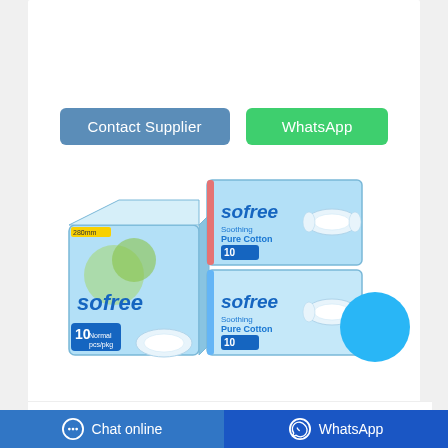[Figure (illustration): Two blue and white product packages labeled 'sofree Pure Cotton' sanitary pads (10 count each), one box-style and two flat pack-style, with a blue circle/button in the lower right]
Contact Supplier
WhatsApp
TOP Organic Cotton Cardboard
Chat online
WhatsApp